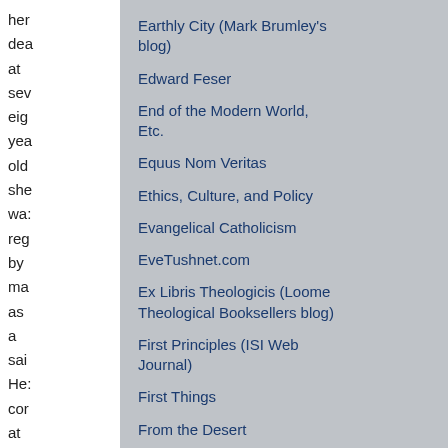her dea at sev eig yea old she wa: reg by ma as a sai He: cor at Ca has bee inu wit
Earthly City (Mark Brumley's blog)
Edward Feser
End of the Modern World, Etc.
Equus Nom Veritas
Ethics, Culture, and Policy
Evangelical Catholicism
EveTushnet.com
Ex Libris Theologicis (Loome Theological Booksellers blog)
First Principles (ISI Web Journal)
First Things
From the Desert
Future Hope